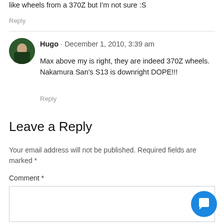like wheels from a 370Z but I'm not sure :S
Reply
Hugo · December 1, 2010, 3:39 am
Max above my is right, they are indeed 370Z wheels. Nakamura San's S13 is downright DOPE!!!
Reply
Leave a Reply
Your email address will not be published. Required fields are marked *
Comment *